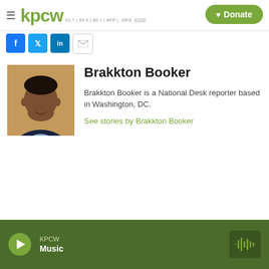kpcw  91.7 | 95.5 | 88.1 | APP | .ORG  NPR
[Figure (logo): KPCW radio station logo with hamburger menu and Donate button]
[Figure (infographic): Social share buttons: Facebook, Twitter, LinkedIn, Email]
[Figure (photo): Headshot photo of Brakkton Booker, a man in a dark suit smiling]
Brakkton Booker
Brakkton Booker is a National Desk reporter based in Washington, DC.
See stories by Brakkton Booker
KPCW  Music